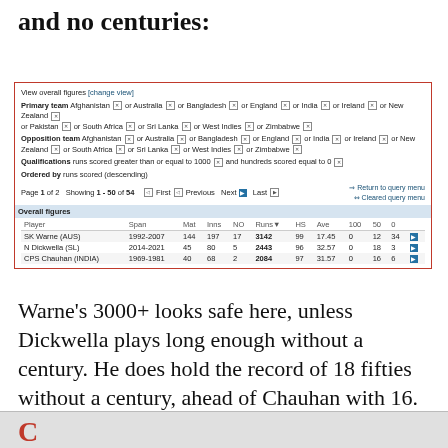and no centuries:
[Figure (screenshot): Cricinfo statistics query result showing players with 1000+ runs scored and hundreds equal to 0. Table shows SK Warne (AUS) 1992-2007, 144 matches, 197 innings, 17 NO, 3142 runs, HS 99, Ave 17.45, 100: 0, 50: 12, 0: 34; N Dickwella (SL) 2014-2021, 45 matches, 80 innings, 5 NO, 2443 runs, HS 96, Ave 32.57, 100: 0, 50: 18, 0: 3; CPS Chauhan (INDIA) 1969-1981, 40 matches, 68 innings, 2 NO, 2084 runs, HS 97, Ave 31.57, 100: 0, 50: 16, 0: 6.]
Warne's 3000+ looks safe here, unless Dickwella plays long enough without a century. He does hold the record of 18 fifties without a century, ahead of Chauhan with 16.